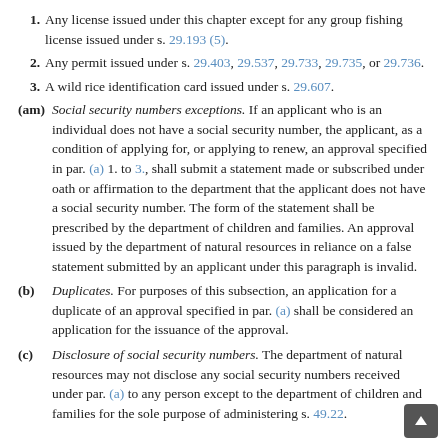1. Any license issued under this chapter except for any group fishing license issued under s. 29.193 (5).
2. Any permit issued under s. 29.403, 29.537, 29.733, 29.735, or 29.736.
3. A wild rice identification card issued under s. 29.607.
(am) Social security numbers exceptions. If an applicant who is an individual does not have a social security number, the applicant, as a condition of applying for, or applying to renew, an approval specified in par. (a) 1. to 3., shall submit a statement made or subscribed under oath or affirmation to the department that the applicant does not have a social security number. The form of the statement shall be prescribed by the department of children and families. An approval issued by the department of natural resources in reliance on a false statement submitted by an applicant under this paragraph is invalid.
(b) Duplicates. For purposes of this subsection, an application for a duplicate of an approval specified in par. (a) shall be considered an application for the issuance of the approval.
(c) Disclosure of social security numbers. The department of natural resources may not disclose any social security numbers received under par. (a) to any person except to the department of children and families for the sole purpose of administering s. 49.22.